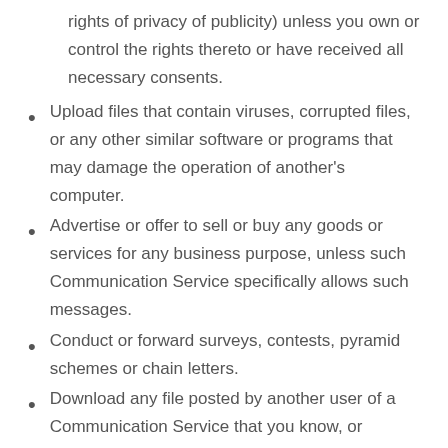rights of privacy of publicity) unless you own or control the rights thereto or have received all necessary consents.
Upload files that contain viruses, corrupted files, or any other similar software or programs that may damage the operation of another’s computer.
Advertise or offer to sell or buy any goods or services for any business purpose, unless such Communication Service specifically allows such messages.
Conduct or forward surveys, contests, pyramid schemes or chain letters.
Download any file posted by another user of a Communication Service that you know, or reasonably should know, cannot be legally distributed in such manner.
Falsify or delete any author attributions, legal or